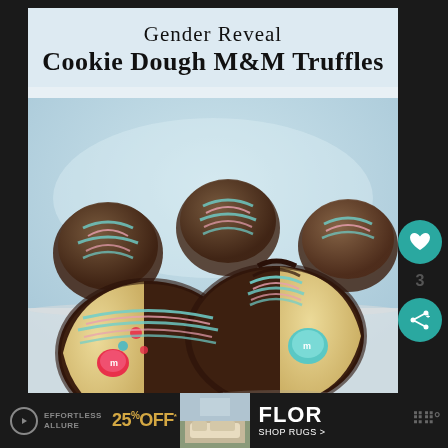Gender Reveal Cookie Dough M&M Truffles
[Figure (photo): Chocolate truffles coated in dark chocolate with pink and teal drizzle stripes, two truffles cut open showing cookie dough filling with pink and teal M&M candies inside, displayed on a white surface with light blue background]
[Figure (infographic): Heart/like button (teal circle with white heart icon) and share button (teal circle with share icon) on right side, with number 3 below heart button]
[Figure (screenshot): Advertisement banner: Effortless Allure 25% off, Flor Shop Rugs, room photo with furniture, WW logo]